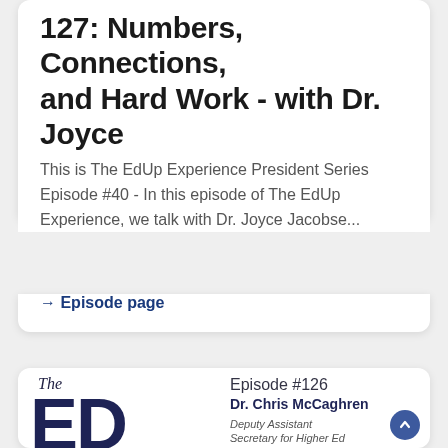127: Numbers, Connections, and Hard Work - with Dr. Joyce Jacobsen, P...
This is The EdUp Experience President Series Episode #40 - In this episode of The EdUp Experience, we talk with Dr. Joyce Jacobse...
→ Episode page
[Figure (logo): The EdUp Experience podcast logo showing 'The' in script above large bold 'ED' letters in dark navy, with Episode #126 info for Dr. Chris McCaghren, Deputy Assistant Secretary for Higher Ed Programs]